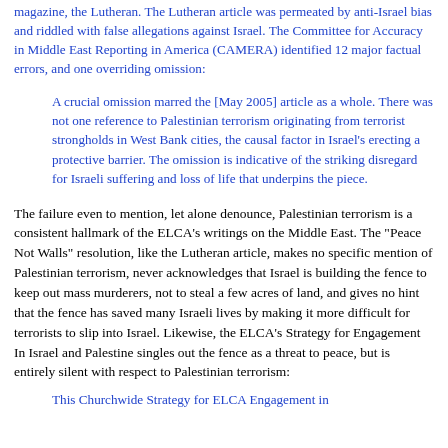magazine, the Lutheran. The Lutheran article was permeated by anti-Israel bias and riddled with false allegations against Israel. The Committee for Accuracy in Middle East Reporting in America (CAMERA) identified 12 major factual errors, and one overriding omission:
A crucial omission marred the [May 2005] article as a whole. There was not one reference to Palestinian terrorism originating from terrorist strongholds in West Bank cities, the causal factor in Israel’s erecting a protective barrier. The omission is indicative of the striking disregard for Israeli suffering and loss of life that underpins the piece.
The failure even to mention, let alone denounce, Palestinian terrorism is a consistent hallmark of the ELCA’s writings on the Middle East. The “Peace Not Walls” resolution, like the Lutheran article, makes no specific mention of Palestinian terrorism, never acknowledges that Israel is building the fence to keep out mass murderers, not to steal a few acres of land, and gives no hint that the fence has saved many Israeli lives by making it more difficult for terrorists to slip into Israel. Likewise, the ELCA’s Strategy for Engagement In Israel and Palestine singles out the fence as a threat to peace, but is entirely silent with respect to Palestinian terrorism:
This Churchwide Strategy for ELCA Engagement in